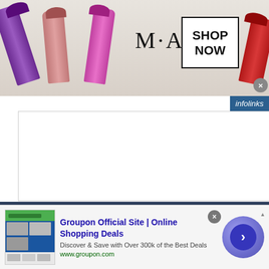[Figure (screenshot): MAC Cosmetics advertisement banner with lipsticks and SHOP NOW button]
[Figure (screenshot): Infolinks badge top right]
[Figure (screenshot): White content area placeholder]
About Us
Started in 2005, The Daily Neopets is the most-
Sections
Dailies List
[Figure (screenshot): Infolinks badge bottom left]
[Figure (screenshot): Groupon Official Site advertisement with thumbnail, title, description and navigation button]